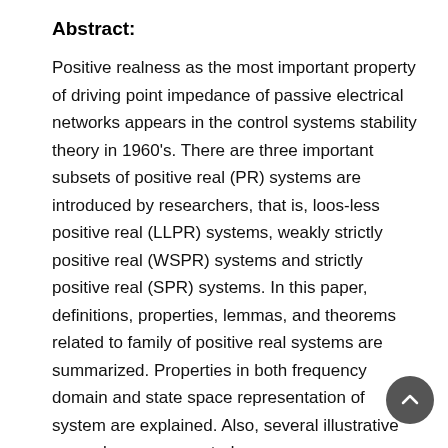Abstract:
Positive realness as the most important property of driving point impedance of passive electrical networks appears in the control systems stability theory in 1960's. There are three important subsets of positive real (PR) systems are introduced by researchers, that is, loos-less positive real (LLPR) systems, weakly strictly positive real (WSPR) systems and strictly positive real (SPR) systems. In this paper, definitions, properties, lemmas, and theorems related to family of positive real systems are summarized. Properties in both frequency domain and state space representation of system are explained. Also, several illustrative examples are presented.
Keywords: real rational matrix transfer functions, positive realness property, strictly positive realness property, Hermitian form asymptotic property, pole-